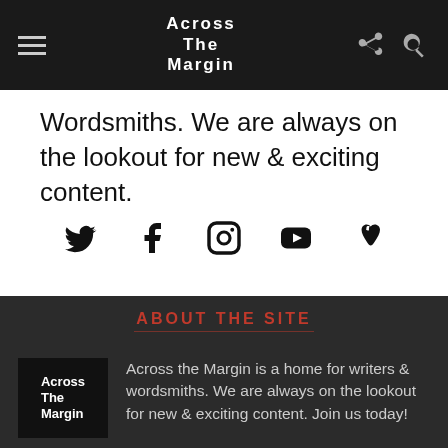Across The Margin
Wordsmiths. We are always on the lookout for new & exciting content.
[Figure (other): Social media icons: Twitter, Facebook, Instagram, YouTube, Apple]
ABOUT THE SITE
[Figure (logo): Across The Margin logo on black background]
Across the Margin is a home for writers & wordsmiths. We are always on the lookout for new & exciting content. Join us today!